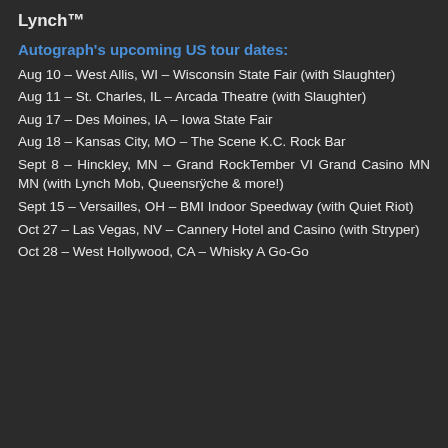Lynch™
Autograph's upcoming US tour dates:
Aug 10 – West Allis, WI – Wisconsin State Fair (with Slaughter)
Aug 11 – St. Charles, IL – Arcada Theatre (with Slaughter)
Aug 17 – Des Moines, IA – Iowa State Fair
Aug 18 – Kansas City, MO – The Scene K.C. Rock Bar
Sept 8 – Hinckley, MN – Grand RockTember VI Grand Casino MN MN (with Lynch Mob, Queensrÿche & more!)
Sept 15 – Versailles, OH – BMI Indoor Speedway (with Quiet Riot)
Oct 27 – Las Vegas, NV – Cannery Hotel and Casino (with Stryper)
Oct 28 – West Hollywood, CA – Whisky A Go-Go